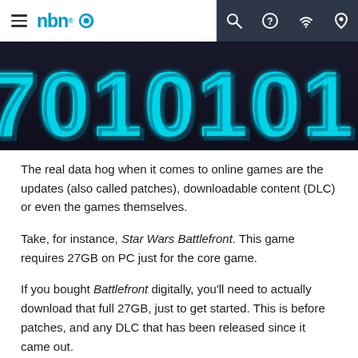nbn
[Figure (illustration): Large glowing cyan/blue binary digits (0s and 1s) on dark background, cropped — part of a decorative hero image]
The real data hog when it comes to online games are the updates (also called patches), downloadable content (DLC) or even the games themselves.
Take, for instance, Star Wars Battlefront. This game requires 27GB on PC just for the core game.
If you bought Battlefront digitally, you'll need to actually download that full 27GB, just to get started. This is before patches, and any DLC that has been released since it came out.